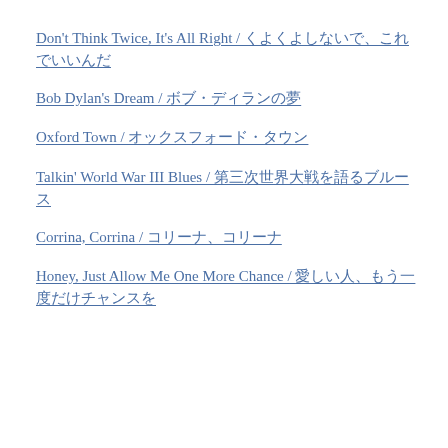Don't Think Twice, It's All Right / くよくよしないで、これでいいんだ
Bob Dylan's Dream / ボブ・ディランの夢
Oxford Town / オックスフォード・タウン
Talkin' World War III Blues / 第三次世界大戦を語るブルース
Corrina, Corrina / コリーナ、コリーナ
Honey, Just Allow Me One More Chance / 愛しい人、もう一度だけチャンスを